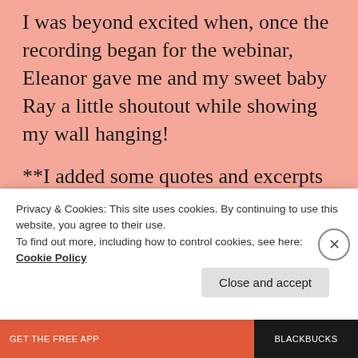I was beyond excited when, once the recording began for the webinar, Eleanor gave me and my sweet baby Ray a little shoutout while showing my wall hanging!
**I added some quotes and excerpts from the event throughout this post; you can view the event on ustream, but the links/highlighted times you will
Privacy & Cookies: This site uses cookies. By continuing to use this website, you agree to their use.
To find out more, including how to control cookies, see here: Cookie Policy
Close and accept